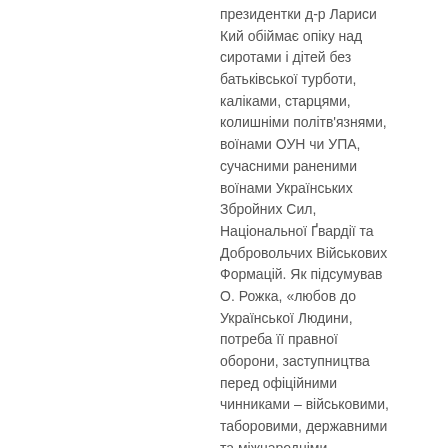президентки д-р Лариси Кий обіймає опіку над сиротами і дітей без батьківської турботи, каліками, старцями, колишніми політв'язнями, воїнами ОУН чи УПА, сучасними раненими воїнами Українських Збройних Сил, Національної Ґвардії та Добровольчих Військових Формацій. Як підсумував О. Рожка, «любов до Української Людини, потреба її правної оборони, заступництва перед офіційними чинниками – військовими, таборовими, державними та міжнародніми авторитетами окреслювали стрижень його діяльності через довгі десятиіття».
Прес-служба Товариства «Свята Софія» США
Про сучасні демографічні тенденції в Україні говорили у Філадельфії
Posted on Українська by Ihor Bloshchynskyy